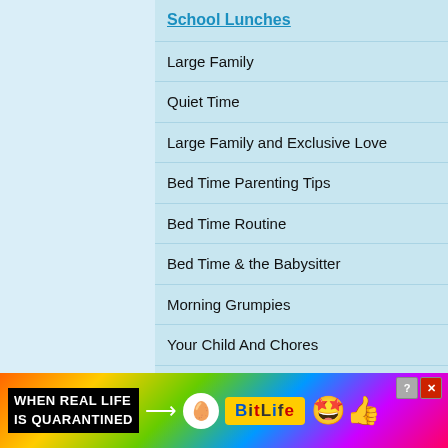School Lunches
Large Family
Quiet Time
Large Family and Exclusive Love
Bed Time Parenting Tips
Bed Time Routine
Bed Time & the Babysitter
Morning Grumpies
Your Child And Chores
Teens and Young Kids
Colic and Sleep
Coping With Crying
Safe Co-sleeping
Co-sleeping with Baby
Good Night Baby
[Figure (screenshot): Advertisement banner: WHEN REAL LIFE IS QUARANTINED with BitLife game logo and emoji icons]